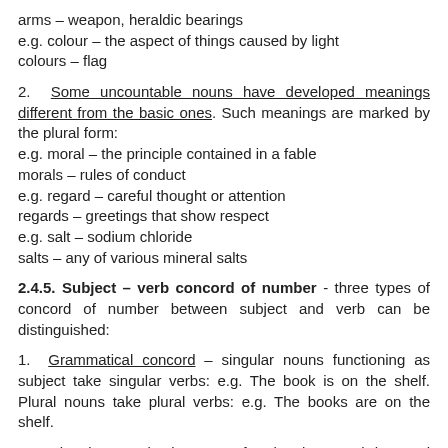arms – weapon, heraldic bearings
e.g. colour – the aspect of things caused by light
colours – flag
2. Some uncountable nouns have developed meanings different from the basic ones. Such meanings are marked by the plural form:
e.g. moral – the principle contained in a fable
morals – rules of conduct
e.g. regard – careful thought or attention
regards – greetings that show respect
e.g. salt – sodium chloride
salts – any of various mineral salts
2.4.5. Subject – verb concord of number - three types of concord of number between subject and verb can be distinguished:
1. Grammatical concord – singular nouns functioning as subject take singular verbs: e.g. The book is on the shelf. Plural nouns take plural verbs: e.g. The books are on the shelf.
2. Notional concord – in cases of notional concord the word form agrees with its subject according to the semantics of